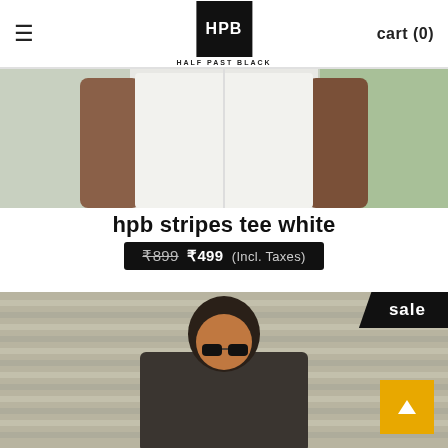≡  HPB HALF PAST BLACK  cart (0)
[Figure (photo): Product photo of a white t-shirt worn by a model, cropped at torso level against a light background with green curtain]
hpb stripes tee white
₹899 ₹499 (Incl. Taxes)
[Figure (photo): Model wearing sunglasses and a dark t-shirt, photographed against a striped metal shutter background. A 'sale' tag is visible in the top right corner.]